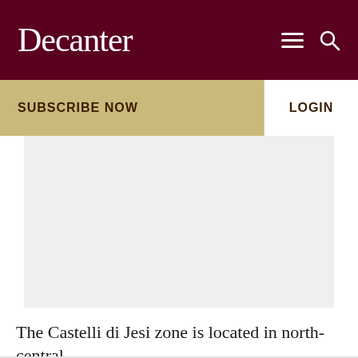Decanter
SUBSCRIBE NOW
LOGIN
[Figure (photo): Large light grey placeholder image area representing a photograph of the Castelli di Jesi zone]
The Castelli di Jesi zone is located in north-central